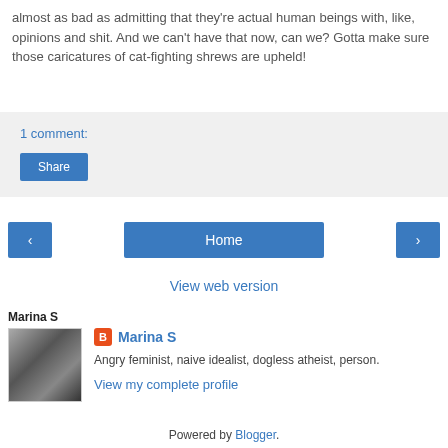almost as bad as admitting that they're actual human beings with, like, opinions and shit. And we can't have that now, can we? Gotta make sure those caricatures of cat-fighting shrews are upheld!
1 comment:
Share
‹
Home
›
View web version
Marina S
Marina S
Angry feminist, naive idealist, dogless atheist, person.
View my complete profile
Powered by Blogger.